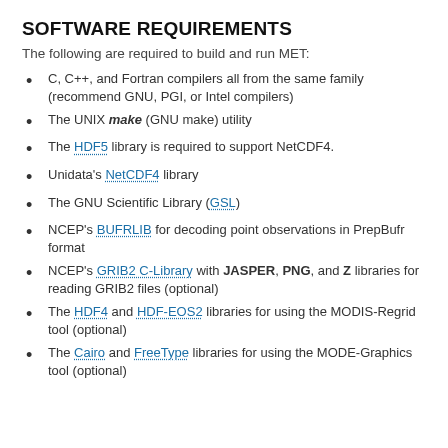SOFTWARE REQUIREMENTS
The following are required to build and run MET:
C, C++, and Fortran compilers all from the same family (recommend GNU, PGI, or Intel compilers)
The UNIX make (GNU make) utility
The HDF5 library is required to support NetCDF4.
Unidata's NetCDF4 library
The GNU Scientific Library (GSL)
NCEP's BUFRLIB for decoding point observations in PrepBufr format
NCEP's GRIB2 C-Library with JASPER, PNG, and Z libraries for reading GRIB2 files (optional)
The HDF4 and HDF-EOS2 libraries for using the MODIS-Regrid tool (optional)
The Cairo and FreeType libraries for using the MODE-Graphics tool (optional)